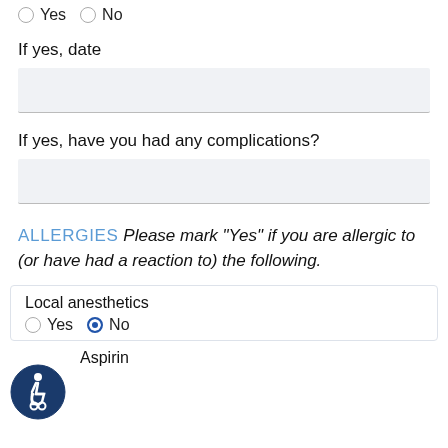Yes   No
If yes, date
If yes, have you had any complications?
ALLERGIES Please mark "Yes" if you are allergic to (or have had a reaction to) the following.
Local anesthetics
Yes  No
Aspirin